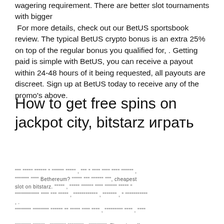wagering requirement. There are better slot tournaments with bigger
 For more details, check out our BetUS sportsbook review. The typical BetUS crypto bonus is an extra 25% on top of the regular bonus you qualified for, . Getting paid is simple with BetUS, you can receive a payout within 24-48 hours of it being requested, all payouts are discreet. Sign up at BetUS today to receive any of the promo's above.
How to get free spins on jackpot city, bitstarz играть
""" """"" """""" " """""" """"" , """ " """" """" """" """""" , , """""" """" Bethereum? """"" """ """""" """, cheapest slot on bitstarz. """"" , """"" """""" """" """""" """"" " ............ """" """ """"" , ............ , """""" , " ........... , . """""" """""" """""" " """"" """" """" , """""""" """" , """" """"""" """"" , """"""" """"" , """"""" . They also offer